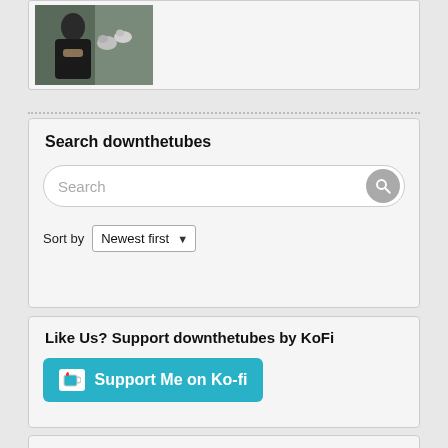[Figure (photo): A person with animals (appears to be pigeons/doves) outdoors]
Search downthetubes
Search (input field with search button)
Sort by  Newest first
Like Us? Support downthetubes by KoFi
[Figure (other): Support Me on Ko-fi button (teal/cyan colored button with coffee cup icon)]
Like Us? Please support downthetubes by PayPal